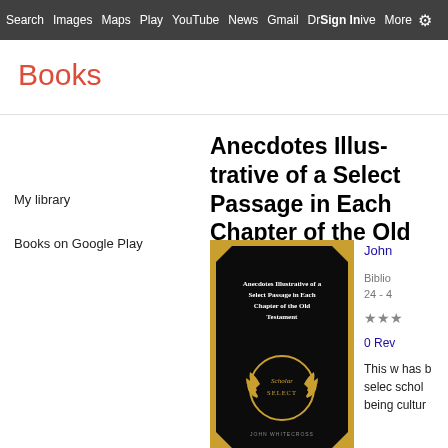Search  Images  Maps  Play  YouTube  News  Gmail  Drive  More  Sign in  [settings]
Books
My library
Books on Google Play
Anecdotes Illustrative of a Select Passage in Each Chapter of the Old Testament
[Figure (illustration): Book cover for Anecdotes Illustrative of a Select Passage in Each Chapter of the Old Testament. Black cover with gold border and Scholar Select emblem, title text and author name printed in white/gold.]
John ...
Biblio...
24 - 4...
★★★
0 Rev...
This w... has b... selec... schol... being... cultur...